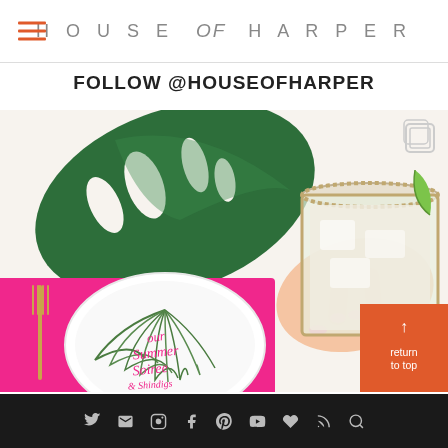HOUSE of HARPER
FOLLOW @HOUSEOFHARPER
[Figure (photo): Overhead and close-up photo showing a hand holding a margarita glass with ice and a lime wedge, a large monstera leaf, a pink placemat with white plate, gold cutlery, and a decorative palm frond with pink script text on the plate.]
Social media icons: Twitter, Email, Instagram, Facebook, Pinterest, YouTube, Bloglovin, RSS, Search